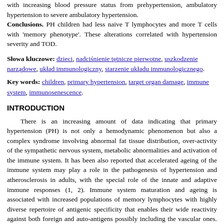with increasing blood pressure status from prehypertension, ambulatory hypertension to severe ambulatory hypertension. Conclusions. PH children had less naive T lymphocytes and more T cells with 'memory phenotype'. These alterations correlated with hypertension severity and TOD.
Słowa kluczowe: dzieci, nadciśnienie tętnicze pierwotne, uszkodzenie narządowe, układ immunologiczny, starzenie układu immunologicznego.
Key words: children, primary hypertension, target organ damage, immune system, immunosenescence.
INTRODUCTION
There is an increasing amount of data indicating that primary hypertension (PH) is not only a hemodynamic phenomenon but also a complex syndrome involving abnormal fat tissue distribution, over-activity of the sympathetic nervous system, metabolic abnormalities and activation of the immune system. It has been also reported that accelerated ageing of the immune system may play a role in the pathogenesis of hypertension and atherosclerosis in adults, with the special role of the innate and adaptive immune responses (1, 2). Immune system maturation and ageing is associated with increased populations of memory lymphocytes with highly diverse repertoire of antigenic specificity that enables their wide reactivity against both foreign and auto-antigens possibly including the vascular ones. The role of these cells in the PH pathogenesis is still